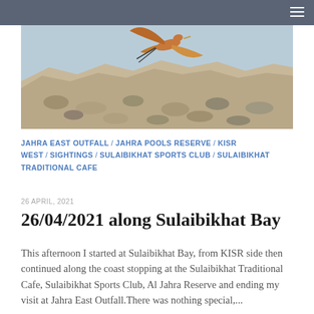[Figure (photo): A bird in flight over rocky coastal terrain with pebbles and stones visible below a light blue sky.]
JAHRA EAST OUTFALL / JAHRA POOLS RESERVE / KISR WEST / SIGHTINGS / SULAIBIKHAT SPORTS CLUB / SULAIBIKHAT TRADITIONAL CAFE
26 APRIL, 2021
26/04/2021 along Sulaibikhat Bay
This afternoon I started at Sulaibikhat Bay, from KISR side then continued along the coast stopping at the Sulaibikhat Traditional Cafe, Sulaibikhat Sports Club, Al Jahra Reserve and ending my visit at Jahra East Outfall.There was nothing special,...